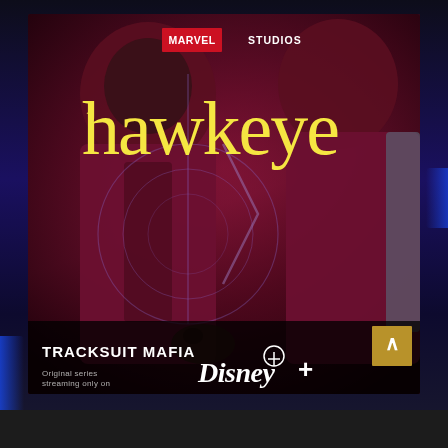[Figure (photo): Marvel Studios Hawkeye promotional poster showing two characters in dark maroon/burgundy tracksuits back to back. The Marvel Studios logo appears at the top center in white text on red background. 'hawkeye' is displayed in large yellow lowercase letters with an arrow/upward symbol on the 'h'. Circular target/arc decorative lines appear in the background. At the bottom, a dark banner reads 'TRACKSUIT MAFIA' on the left, and 'Original series streaming only on Disney+' on the right with the Disney+ logo. A gold scroll-up button appears in the bottom right corner.]